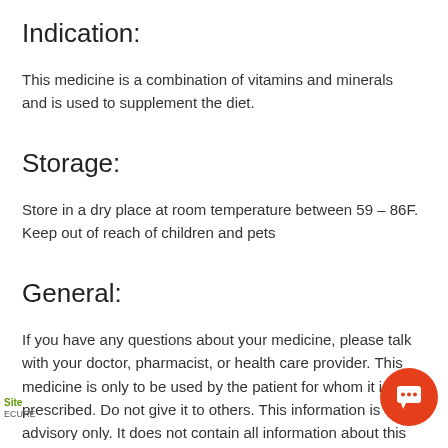Indication:
This medicine is a combination of vitamins and minerals and is used to supplement the diet.
Storage:
Store in a dry place at room temperature between 59 – 86F. Keep out of reach of children and pets
General:
If you have any questions about your medicine, please talk with your doctor, pharmacist, or health care provider. This medicine is only to be used by the patient for whom it is prescribed. Do not give it to others. This information is advisory only. It does not contain all information about this medicine. If you have any questions about your medicine, ask your doctor, pharmacist, or